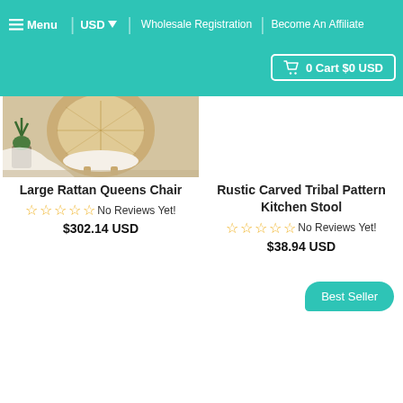≡ Menu | USD ▾ | Wholesale Registration | Become An Affiliate
🛒 0 Cart $0 USD
[Figure (photo): Photo of a large rattan peacock/queens chair with white cushion and a plant beside it]
Large Rattan Queens Chair
☆☆☆☆☆ No Reviews Yet!
$302.14 USD
Rustic Carved Tribal Pattern Kitchen Stool
☆☆☆☆☆ No Reviews Yet!
$38.94 USD
Best Seller